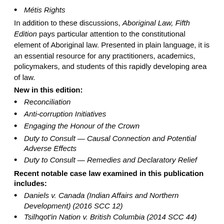Métis Rights
In addition to these discussions, Aboriginal Law, Fifth Edition pays particular attention to the constitutional element of Aboriginal law. Presented in plain language, it is an essential resource for any practitioners, academics, policymakers, and students of this rapidly developing area of law.
New in this edition:
Reconciliation
Anti-corruption Initiatives
Engaging the Honour of the Crown
Duty to Consult — Causal Connection and Potential Adverse Effects
Duty to Consult — Remedies and Declaratory Relief
Recent notable case law examined in this publication includes:
Daniels v. Canada (Indian Affairs and Northern Development) (2016 SCC 12)
Tsilhqot'in Nation v. British Columbia (2014 SCC 44)